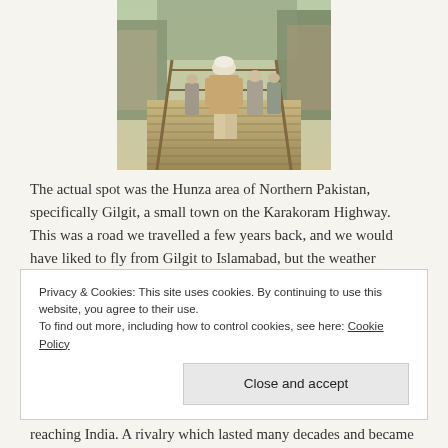[Figure (photo): People walking across a wooden bridge, viewed from behind. A man in traditional Pakistani/South Asian dress with a white cap and tan vest is prominent in the foreground, with others visible ahead on the bridge.]
The actual spot was the Hunza area of Northern Pakistan, specifically Gilgit, a small town on the Karakoram Highway. This was a road we travelled a few years back, and we would have liked to fly from Gilgit to Islamabad, but the weather prevented planes taking off so we had to take an overnight bus, stopping for breakfast in Abbattobad, where at the same moment, unknown to us (and presumably to everyone else on the bus) Bin Laden was tucking into breakfast too. Though the region is beautiful, Gilgit
Privacy & Cookies: This site uses cookies. By continuing to use this website, you agree to their use.
To find out more, including how to control cookies, see here: Cookie Policy
Close and accept
reaching India. A rivalry which lasted many decades and became